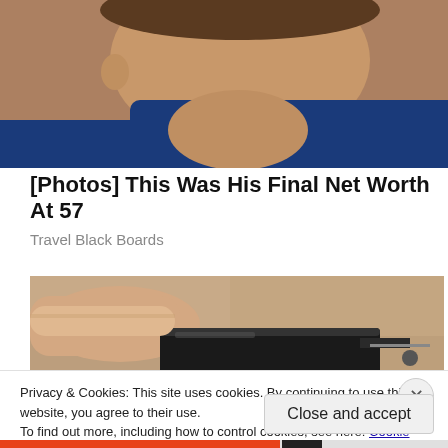[Figure (photo): Close-up photo of a person's face and neck, partially cropped, wearing a blue jacket]
[Photos] This Was His Final Net Worth At 57
Travel Black Boards
[Figure (photo): Close-up photo of a hand holding a black USB or electronic connector/plug against a granite or stone surface]
Privacy & Cookies: This site uses cookies. By continuing to use this website, you agree to their use.
To find out more, including how to control cookies, see here: Cookie Policy